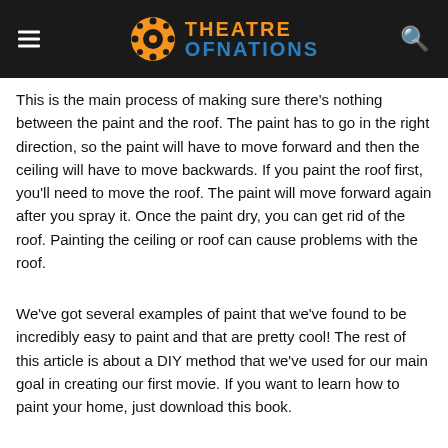THEATRE OF NATIONS
This is the main process of making sure there's nothing between the paint and the roof. The paint has to go in the right direction, so the paint will have to move forward and then the ceiling will have to move backwards. If you paint the roof first, you'll need to move the roof. The paint will move forward again after you spray it. Once the paint dry, you can get rid of the roof. Painting the ceiling or roof can cause problems with the roof.
We've got several examples of paint that we've found to be incredibly easy to paint and that are pretty cool! The rest of this article is about a DIY method that we've used for our main goal in creating our first movie. If you want to learn how to paint your home, just download this book.
There's a few ways of doing this. For one, you can simply apply the paint to your home's exterior. (This is the default method